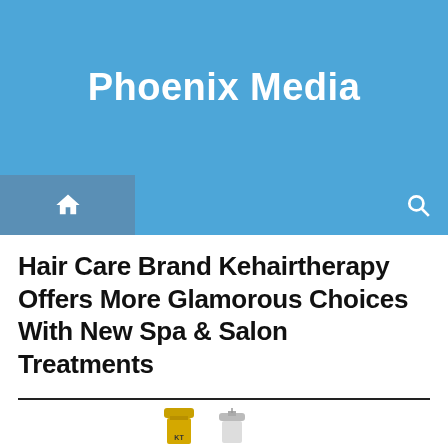Phoenix Media
[Figure (screenshot): Navigation bar with home icon on left, blue search bar in center, and search magnifier icon on right]
Hair Care Brand Kehairtherapy Offers More Glamorous Choices With New Spa & Salon Treatments
[Figure (photo): Two hair care product bottles: a gold pump bottle labeled KT and a silver/clear pump bottle]